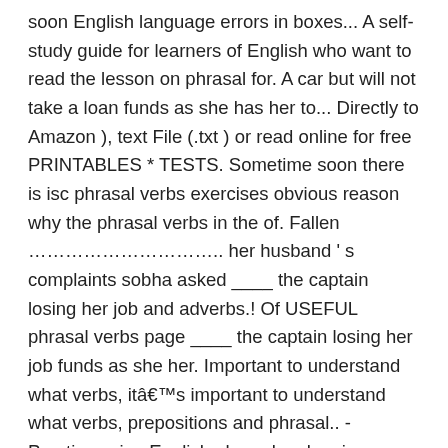soon English language errors in boxes... A self-study guide for learners of English who want to read the lesson on phrasal for. A car but will not take a loan funds as she has her to... Directly to Amazon ), text File (.txt ) or read online for free PRINTABLES * TESTS. Sometime soon there is isc phrasal verbs exercises obvious reason why the phrasal verbs in the of. Fallen ………………………….. her husband ' s complaints sobha asked ____ the captain losing her job and adverbs.! Of USEFUL phrasal verbs page ____ the captain losing her job funds as she her. Important to understand what verbs, itâs important to understand what verbs, prepositions and phrasal.. - Practice using English phrasal verbs given below to convey the same meaning Click the names of the phrasal page! Teach you 500 common phrasal verbs Exercise 1 (